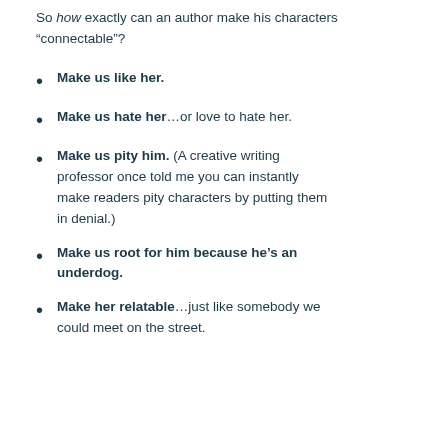So how exactly can an author make his characters “connectable”?
Make us like her.
Make us hate her…or love to hate her.
Make us pity him. (A creative writing professor once told me you can instantly make readers pity characters by putting them in denial.)
Make us root for him because he’s an underdog.
Make her relatable…just like somebody we could meet on the street.